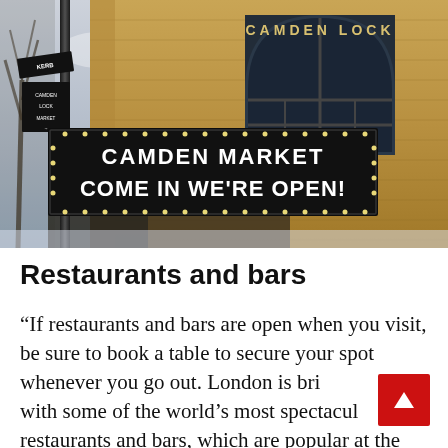[Figure (photo): Photo of Camden Lock market building with a large brick Victorian-era structure. A black sign reads 'CAMDEN MARKET COME IN WE'RE OPEN!' in white letters with light bulb dots around the border. The Camden Lock name is carved/displayed in an arch above a large arched window.]
Restaurants and bars
“If restaurants and bars are open when you visit, be sure to book a table to secure your spot whenever you go out. London is brimming with some of the world’s most spectacular restaurants and bars, which are popular at the